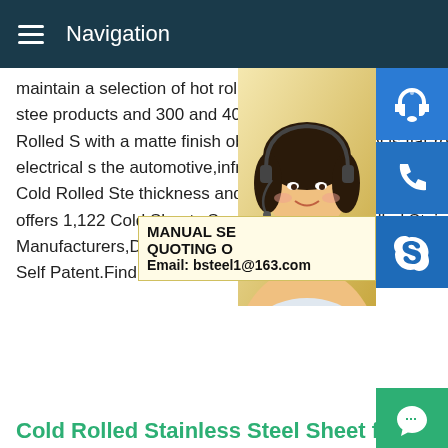Navigation
maintain a selection of hot rolled steel ,hot oiled,hot rolled pickled dry ,cold rolled steel products and 300 and 400 series stainless AK SteelSURFACE FINISH Cold Rolled S with a matte finish obtained by AK Steel is flat-rolled carbon,stainless and electrical s the automotive,infrastructure and manufac generation and AK Steel's Cold Rolled Ste thickness and Cold Rolled Stainless Steel Suppliers,Manufacturer offers 1,122 Cold Sheets Suppliers,and Cold Rolled Stainless Steel Sheets Manufacturers,Distributors,Factories,Companies.There are 659 OEM,580 ODM,137 Self Patent.Find high quality Cold Rolled Stainless Steel Sheets Suppliers on .
[Figure (photo): Woman with headset, customer service representative]
[Figure (infographic): Contact icons: headset, phone, Skype; popup with MANUAL SE... QUOTING O... Email: bsteel1@163.com; green chat button; gray up-arrow button]
Cold Rolled Stainless Steel Sheet factory,B